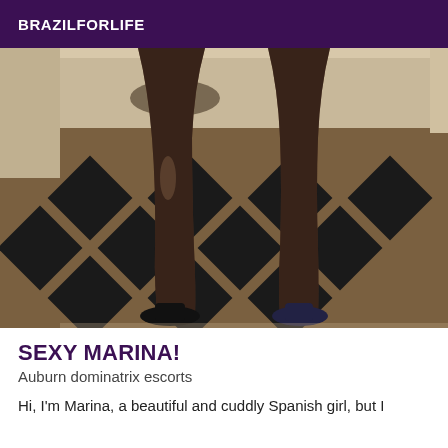BRAZILFORLIFE
[Figure (photo): Close-up photo of a person's legs from approximately mid-thigh down, wearing high heels, standing on a patterned black and tan geometric/diamond-pattern floor rug or carpet.]
SEXY MARINA!
Auburn dominatrix escorts
Hi, I'm Marina, a beautiful and cuddly Spanish girl, but I